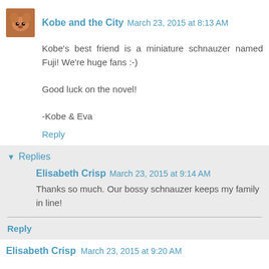Kobe and the City  March 23, 2015 at 8:13 AM
Kobe's best friend is a miniature schnauzer named Fuji! We're huge fans :-)

Good luck on the novel!

-Kobe & Eva
Reply
▾ Replies
Elisabeth Crisp  March 23, 2015 at 9:14 AM
Thanks so much. Our bossy schnauzer keeps my family in line!
Reply
Elisabeth Crisp  March 23, 2015 at 9:20 AM